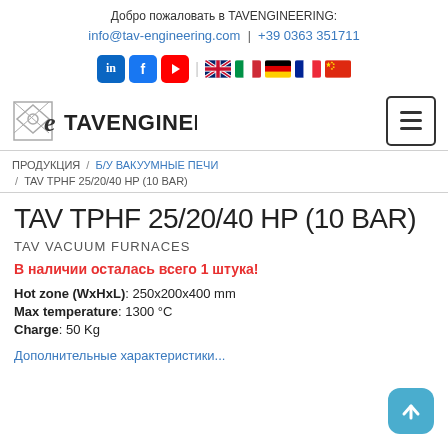Добро пожаловать в TAVENGINEERING: info@tav-engineering.com | +39 0363 351711
[Figure (infographic): Social media icons (LinkedIn, Facebook, YouTube) and country flag icons (UK, Italy, Germany, France, China)]
[Figure (logo): TAVENGINEERING logo with geometric diamond icon and company name]
ПРОДУКЦИЯ / Б/У ВАКУУМНЫЕ ПЕЧИ / TAV TPHF 25/20/40 HP (10 BAR)
TAV TPHF 25/20/40 HP (10 BAR)
TAV VACUUM FURNACES
В наличии осталась всего 1 штука!
Hot zone (WxHxL): 250x200x400 mm
Max temperature: 1300 °C
Charge: 50 Kg
Дополнительные характеристики...